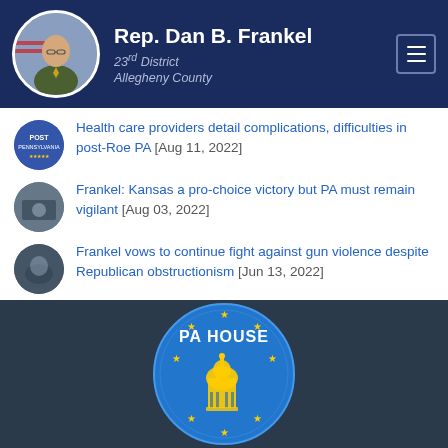Rep. Dan B. Frankel, 23rd District, Allegheny County
Health care providers detail complications, difficulties in post-Roe PA [Aug 11, 2022]
Frankel: Kansas a pro-choice victory but PA must remain vigilant [Aug 03, 2022]
Frankel vows to continue fight against gun violence despite Republican obstructionism [Jun 13, 2022]
Frankel joins Democratic leaders in push to move gun safety bills [May 25, 2022]
[Figure (logo): PA House seal/logo - blue circular seal with gold stars and capitol building illustration, text reading PA HOUSE]